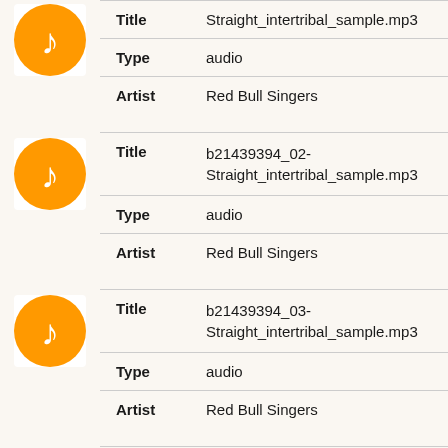|  | Field | Value |
| --- | --- | --- |
| [music icon] | Title | Straight_intertribal_sample.mp3 |
|  | Type | audio |
|  | Artist | Red Bull Singers |
| [music icon] | Title | b21439394_02-Straight_intertribal_sample.mp3 |
|  | Type | audio |
|  | Artist | Red Bull Singers |
| [music icon] | Title | b21439394_03-Straight_intertribal_sample.mp3 |
|  | Type | audio |
|  | Artist | Red Bull Singers |
| [music icon] | Title | b21439394_04- |